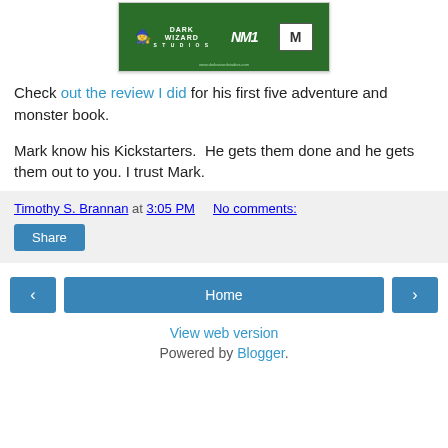[Figure (logo): Dark Wizard Studios banner on green background with NM1 logo and M rating box]
Check out the review I did for his first five adventure and monster book.
Mark know his Kickstarters.  He gets them done and he gets them out to you. I trust Mark.
Timothy S. Brannan at 3:05 PM   No comments:
Share
Home
View web version
Powered by Blogger.